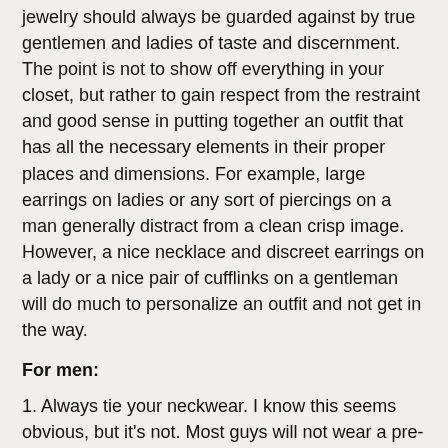jewelry should always be guarded against by true gentlemen and ladies of taste and discernment. The point is not to show off everything in your closet, but rather to gain respect from the restraint and good sense in putting together an outfit that has all the necessary elements in their proper places and dimensions. For example, large earrings on ladies or any sort of piercings on a man generally distract from a clean crisp image. However, a nice necklace and discreet earrings on a lady or a nice pair of cufflinks on a gentleman will do much to personalize an outfit and not get in the way.
For men:
1. Always tie your neckwear. I know this seems obvious, but it's not. Most guys will not wear a pre-tied necktie, (although many leave their ties partially tied out of laziness) but what is forgotten are the bow ties. The only proper neckwear for a present-day formal or semi-formal occasion is a bow tie. I realize it is now considered the 'in thing' to wear a necktie. However, for the classically minded gentleman, this is a clear violation of decorum and tradition. Most men opt for the pre-tied bow tie, which is extremely tacky and generally obvious to their friends... (The second-better option that really doesn't...